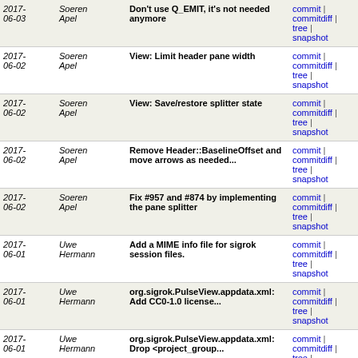| Date | Author | Message | Links |
| --- | --- | --- | --- |
| 2017-06-03 | Soeren Apel | Don't use Q_EMIT, it's not needed anymore | commit | commitdiff | tree | snapshot |
| 2017-06-02 | Soeren Apel | View: Limit header pane width | commit | commitdiff | tree | snapshot |
| 2017-06-02 | Soeren Apel | View: Save/restore splitter state | commit | commitdiff | tree | snapshot |
| 2017-06-02 | Soeren Apel | Remove Header::BaselineOffset and move arrows as needed... | commit | commitdiff | tree | snapshot |
| 2017-06-02 | Soeren Apel | Fix #957 and #874 by implementing the pane splitter | commit | commitdiff | tree | snapshot |
| 2017-06-01 | Uwe Hermann | Add a MIME info file for sigrok session files. | commit | commitdiff | tree | snapshot |
| 2017-06-01 | Uwe Hermann | org.sigrok.PulseView.appdata.xml: Add CC0-1.0 license... | commit | commitdiff | tree | snapshot |
| 2017-06-01 | Uwe Hermann | org.sigrok.PulseView.appdata.xml: Drop <project_group... | commit | commitdiff | tree | snapshot |
| 2017-06-01 | Uwe Hermann | org.sigrok.PulseView.appdata.xml: Add <suggests> tags. | commit | commitdiff | tree | snapshot |
| 2017-06-01 | Uwe Hermann | org.sigrok.PulseView.appdata.xml: Add <mimetype> tag. | commit | commitdiff | tree | snapshot |